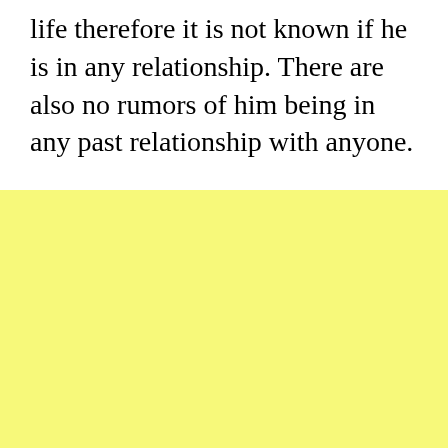life therefore it is not known if he is in any relationship. There are also no rumors of him being in any past relationship with anyone.